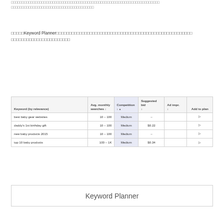□□□□□□□□□□□□□□□□□□□□□□□□□□□□□□□□□□□□□□□□□□□□□□□□□□□□ □□□□□□□□□□□□□□□□□□□□□□□□□□□□□□□□□□□□□
□□□□□Keyword Planner□□□□□□□□□□□□□□□□□□□□□□□□□□□□□□□□□□□□□□□□□□□□□□□□□□□□□□□□□□□□□□□□□□□□□□□□□□□□□□□□□
| Keyword (by relevance) | Avg. monthly searches | Competition | Suggested bid | Ad impr. | Add to plan |
| --- | --- | --- | --- | --- | --- |
| best baby gear websites | 10 – 100 | Medium | – |  | ▷ |
| daddy's 1st birthday gift | 10 – 100 | Medium | $0.22 |  | ▷ |
| new baby products 2015 | 10 – 100 | Medium | – |  | ▷ |
| top 10 baby products | 100 – 1K | Medium | $0.34 |  | ▷ |
Keyword Planner